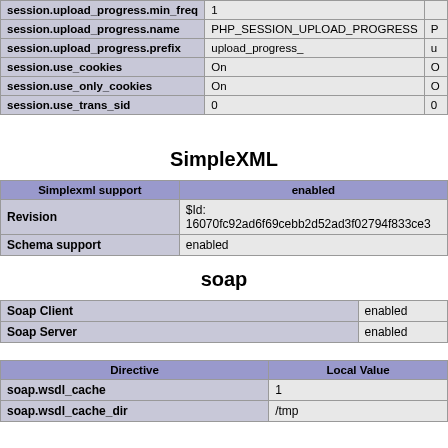| Directive | Local Value | Master Value |
| --- | --- | --- |
| session.upload_progress.min_freq | 1 |  |
| session.upload_progress.name | PHP_SESSION_UPLOAD_PROGRESS | P |
| session.upload_progress.prefix | upload_progress_ | u |
| session.use_cookies | On | O |
| session.use_only_cookies | On | O |
| session.use_trans_sid | 0 | 0 |
SimpleXML
| Simplexml support | enabled |
| --- | --- |
| Revision | $Id: 16070fc92ad6f69cebb2d52ad3f02794f833ce3 |
| Schema support | enabled |
soap
| Soap Client | enabled |
| Soap Server | enabled |
| Directive | Local Value |
| --- | --- |
| soap.wsdl_cache | 1 |
| soap.wsdl_cache_dir | /tmp |